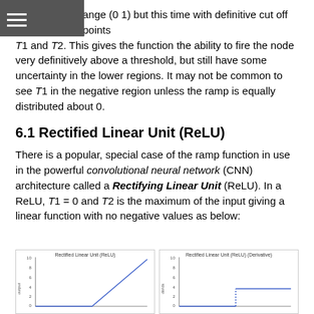ange (0 1) but this time with definitive cut off points T1 and T2. This gives the function the ability to fire the node very definitively above a threshold, but still have some uncertainty in the lower regions. It may not be common to see T1 in the negative region unless the ramp is equally distributed about 0.
6.1 Rectified Linear Unit (ReLU)
There is a popular, special case of the ramp function in use in the powerful convolutional neural network (CNN) architecture called a Rectifying Linear Unit (ReLU). In a ReLU, T1 = 0 and T2 is the maximum of the input giving a linear function with no negative values as below:
[Figure (line-chart): Two small line charts side by side. Left: Rectified Linear Unit (ReLU) showing a ramp function starting flat then rising linearly. Right: Rectified Linear Unit (ReLU) (Derivative) showing a step function.]